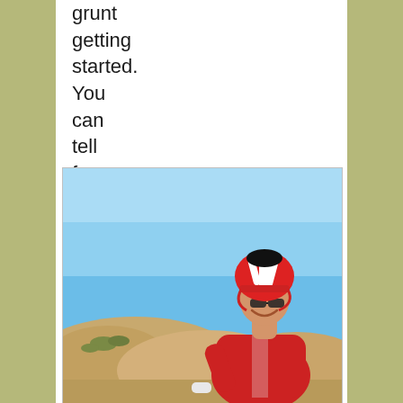grunt getting started. You can tell from the picture.
[Figure (photo): A cyclist wearing a red jersey and red/white/black helmet, smiling, riding against a background of blue sky and tan hills.]